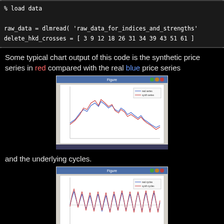% load data
raw_data = dlmread( 'raw_data_for_indices_and_strengths'
delete_hkd_crosses = [ 3 9 12 18 26 31 34 39 43 51 61 ]
Some typical chart output of this code is the synthetic price series in red compared with the real blue price series
[Figure (screenshot): Screenshot of a MATLAB/chart window showing two overlapping line charts - a red synthetic price series and a blue real price series]
and the underlying cycles.
[Figure (screenshot): Screenshot of a MATLAB/chart window showing underlying cycle lines - red and blue oscillating series with more frequent cycles]